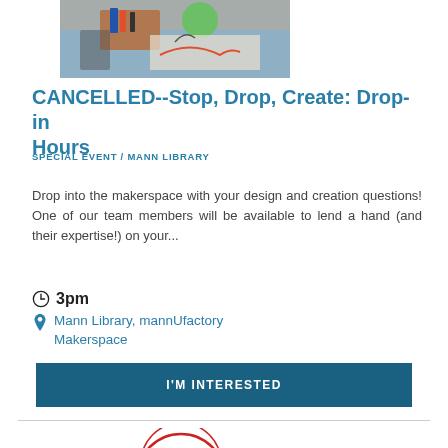[Figure (photo): People working at a table with design materials, pens, a green mug, and paper]
CANCELLED--Stop, Drop, Create: Drop-in Hours
SPECIAL EVENT / MANN LIBRARY
Drop into the makerspace with your design and creation questions! One of our team members will be available to lend a hand (and their expertise!) on your...
3pm
Mann Library, mannUfactory Makerspace
I'M INTERESTED
[Figure (logo): Partial Cornell University seal visible at bottom]